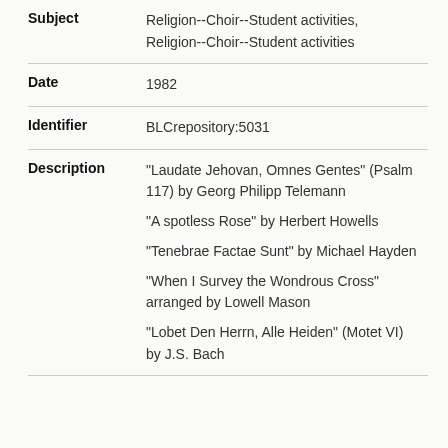| Field | Value |
| --- | --- |
| Subject | Religion--Choir--Student activities, Religion--Choir--Student activities |
| Date | 1982 |
| Identifier | BLCrepository:5031 |
| Description | "Laudate Jehovan, Omnes Gentes" (Psalm 117) by Georg Philipp Telemann
"A spotless Rose" by Herbert Howells
"Tenebrae Factae Sunt" by Michael Hayden
"When I Survey the Wondrous Cross" arranged by Lowell Mason
"Lobet Den Herrn, Alle Heiden" (Motet VI) by J.S. Bach |